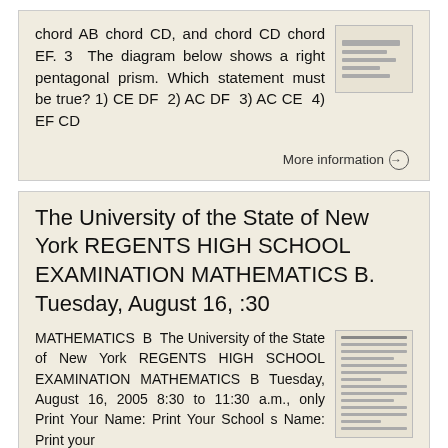chord AB chord CD, and chord CD chord EF. 3 The diagram below shows a right pentagonal prism. Which statement must be true? 1) CE DF 2) AC DF 3) AC CE 4) EF CD
More information →
The University of the State of New York REGENTS HIGH SCHOOL EXAMINATION MATHEMATICS B. Tuesday, August 16, :30
MATHEMATICS B The University of the State of New York REGENTS HIGH SCHOOL EXAMINATION MATHEMATICS B Tuesday, August 16, 2005 8:30 to 11:30 a.m., only Print Your Name: Print Your School s Name: Print your
More information →
0110ge. Geometry Regents Exam Which